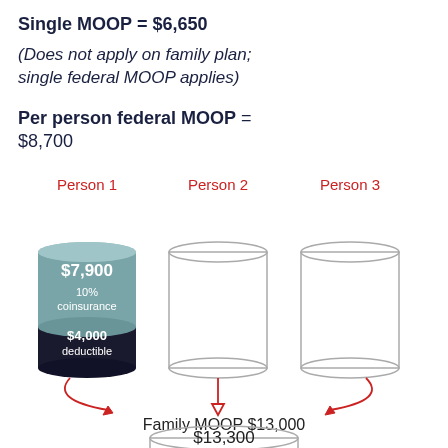Single MOOP = $6,650
(Does not apply on family plan; single federal MOOP applies)
Per person federal MOOP = $8,700
[Figure (infographic): Three cylinders labeled Person 1, Person 2, Person 3. Person 1 cylinder is filled: dark bottom section labeled $4,000 deductible, teal middle section labeled 10% coinsurance, with $7,900 total shown. Person 2 and Person 3 are empty cylinders. Red arrows from all three cylinders point down to a label 'Family MOOP $13,000'. Below that is a partially visible cylinder showing $13,300.]